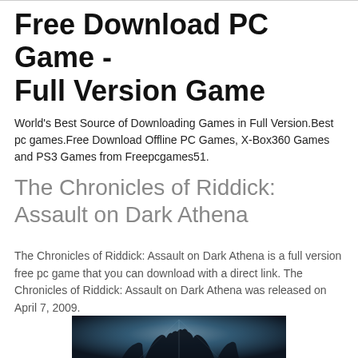Free Download PC Game - Full Version Game
World's Best Source of Downloading Games in Full Version.Best pc games.Free Download Offline PC Games, X-Box360 Games and PS3 Games from Freepcgames51.
The Chronicles of Riddick: Assault on Dark Athena
The Chronicles of Riddick: Assault on Dark Athena is a full version free pc game that you can download with a direct link. The Chronicles of Riddick: Assault on Dark Athena was released on April 7, 2009.
[Figure (photo): Dark atmospheric screenshot or promotional image from The Chronicles of Riddick: Assault on Dark Athena game, showing a dark blue/teal sci-fi scene with a figure silhouette]